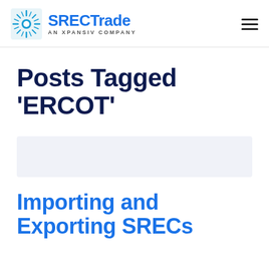SRECTrade AN XPANSIV COMPANY
Posts Tagged 'ERCOT'
[Figure (other): Light blue/gray placeholder card area]
Importing and Exporting SRECs